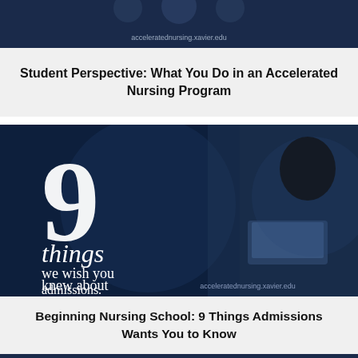[Figure (photo): Dark blue banner image showing acceleratednursing.xavier.edu URL text on a dark background - top portion of a card about student perspective on accelerated nursing programs]
Student Perspective: What You Do in an Accelerated Nursing Program
[Figure (photo): Dark navy blue promotional image showing a large white number 9 and text reading '9 things we wish you knew about admissions.' on the left side, with a photo of a young woman with a braid working on a laptop in dim lighting on the right side. Bottom shows acceleratednursing.xavier.edu URL.]
Beginning Nursing School: 9 Things Admissions Wants You to Know
[Figure (photo): Bottom edge of another dark blue card/image, partially visible at the bottom of the page]